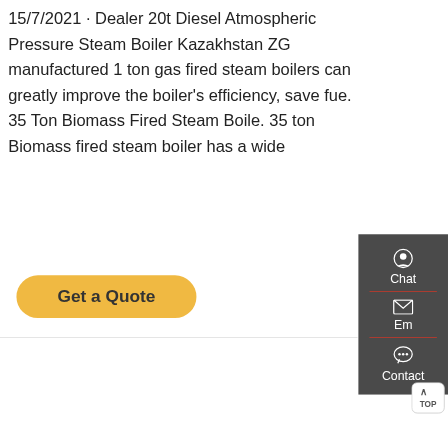15/7/2021 · Dealer 20t Diesel Atmospheric Pressure Steam Boiler Kazakhstan ZG manufactured 1 ton gas fired steam boilers can greatly improve the boiler's efficiency, save fue. 35 Ton Biomass Fired Steam Boile. 35 ton Biomass fired steam boiler has a wide
[Figure (other): Yellow 'Get a Quote' rounded button]
[Figure (photo): Industrial boiler facility photo showing a large dark-colored boiler unit with Chinese characters '方快锅炉' on front, silver pipes and yellow structural columns in background]
[Figure (screenshot): Right sidebar with dark gray background showing Chat (headset icon), Email (envelope icon), and Contact (speech bubble icon) options with red dividers between them, plus a TOP button]
[Figure (infographic): Bottom dark bar with Send Message (document icon on left), live chat bubble saying 'Hello, I'm Rachel, Welcome! we are boiler factory!' in center, and Inquiry Online with circular chat icon on right]